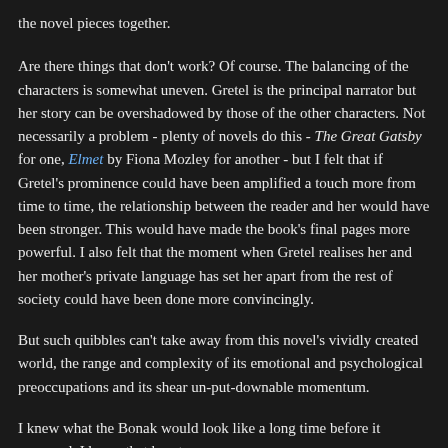the novel pieces together.
Are there things that don't work? Of course. The balancing of the characters is somewhat uneven. Gretel is the principal narrator but her story can be overshadowed by those of the other characters. Not necessarily a problem - plenty of novels do this - The Great Gatsby for one, Elmet by Fiona Mozley for another - but I felt that if Gretel's prominence could have been amplified a touch more from time to time, the relationship between the reader and her would have been stronger. This would have made the book's final pages more powerful. I also felt that the moment when Gretel realises her and her mother's private language has set her apart from the rest of society could have been done more convincingly.
But such quibbles can't take away from this novel's vividly created world, the range and complexity of its emotional and psychological preoccupations and its shear un-put-downable momentum.
I knew what the Bonak would look like a long time before it appeared. I know that beast.
With Everything Under, Johnson taps into the zeitgeist of our times...